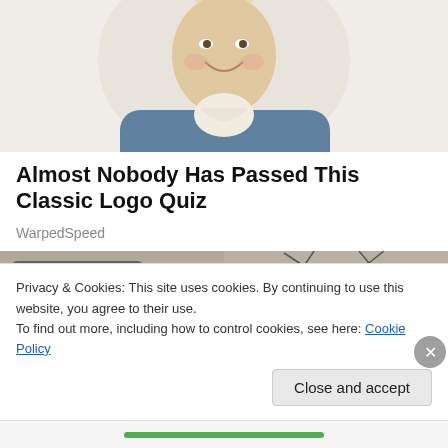[Figure (illustration): Partial view of a person wearing a historical costume with a white wig, ruffled white cravat, and dark blue coat, smiling. Only the upper torso and face (partial) are visible.]
Almost Nobody Has Passed This Classic Logo Quiz
WarpedSpeed
[Figure (photo): Two side-by-side thumbnail images. Left: a hand holding a dark device/remote. Right: bare tree branches against an outdoor background.]
Privacy & Cookies: This site uses cookies. By continuing to use this website, you agree to their use.
To find out more, including how to control cookies, see here: Cookie Policy
Close and accept